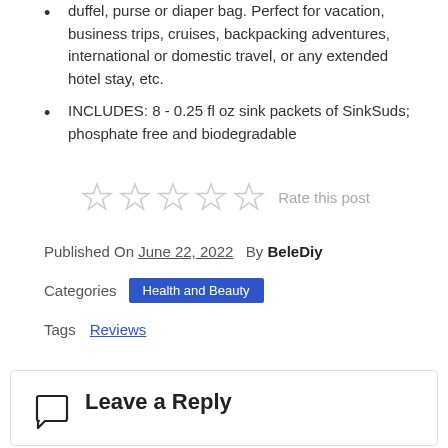duffel, purse or diaper bag. Perfect for vacation, business trips, cruises, backpacking adventures, international or domestic travel, or any extended hotel stay, etc.
INCLUDES: 8 - 0.25 fl oz sink packets of SinkSuds; phosphate free and biodegradable
[Figure (other): Five empty star rating icons with 'Rate this post' label]
Published On June 22, 2022  By BeleDiy
Categories  Health and Beauty
Tags  Reviews
Leave a Reply